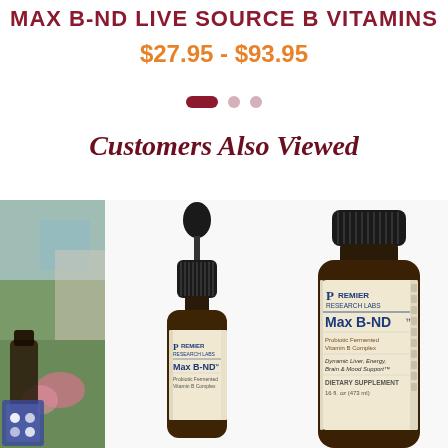Max B-ND Live Source B Vitamins
$27.95 - $93.95
[Figure (other): Carousel navigation dots: one active elongated red dot and two inactive light pink circles]
Customers Also Viewed
[Figure (photo): Three product photos: left shows outdoor lifestyle image partially visible, center shows Premier Research Labs Max B-ND dropper bottle (small, amber glass with dropper cap), right shows Premier Research Labs Max B-ND larger amber glass bottle with screw cap]